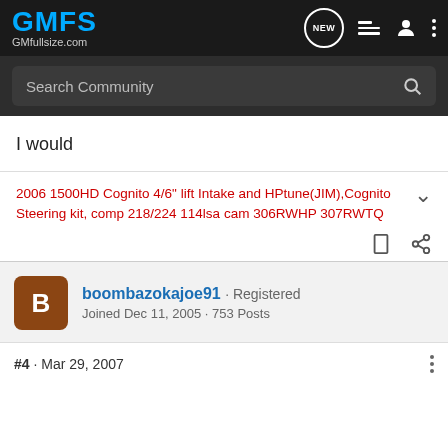GMFS GMfullsize.com
Search Community
I would
2006 1500HD Cognito 4/6" lift Intake and HPtune(JIM),Cognito Steering kit, comp 218/224 114lsa cam 306RWHP 307RWTQ
boombazokajoe91 · Registered
Joined Dec 11, 2005 · 753 Posts
#4 · Mar 29, 2007